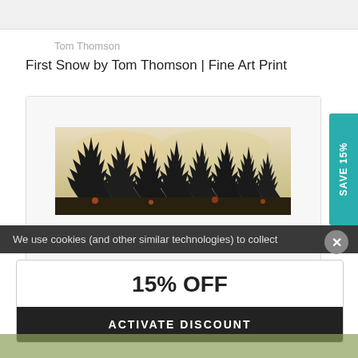Tom Thomson
First Snow by Tom Thomson | Fine Art Print
[Figure (photo): Fine art print product card showing Tom Thomson's 'First Snow' painting - dark conifer trees against a pale winter sky, with a teal 'SAVE 15%' vertical tab on the right side]
We use cookies (and other similar technologies) to collect
15% OFF
ACTIVATE DISCOUNT